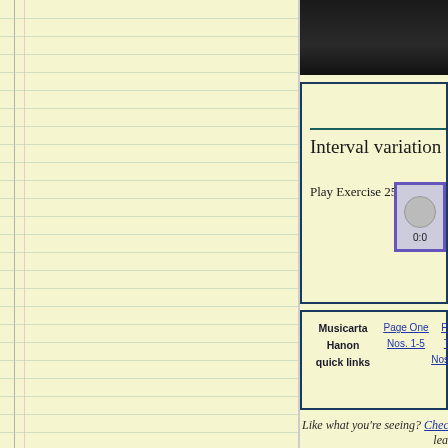[Figure (screenshot): Dark background image at top of main content area]
Interval variation
Play Exercise 25 in sixths.
[Figure (screenshot): Video player showing 0:0 time and circular play button]
| Musicarta Hanon quick links | Page One Nos. 1-5 | Page Two Nos. 6-10 | Page Nos. |
Like what you're seeing? Check ou... lea...
THE MUSICARTA WORK...